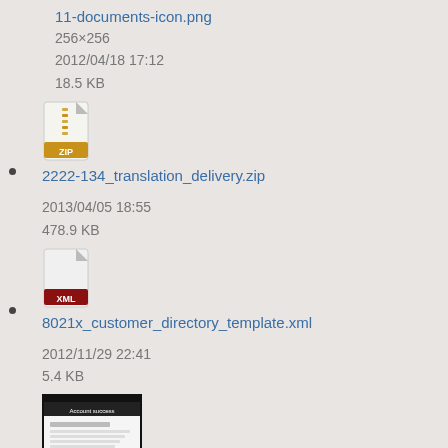11-documents-icon.png
256×256
2012/04/18 17:12
18.5 KB
2222-134_translation_delivery.zip
2013/04/05 18:55
478.9 KB
8021x_customer_directory_template.xml
2012/11/29 22:41
5.4 KB
aca_success1.png